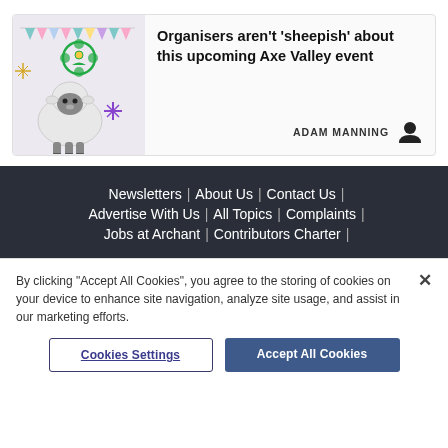[Figure (illustration): Cartoon sheep with bunting flags and a green flower/sun emblem, on a light purple background]
Organisers aren't 'sheepish' about this upcoming Axe Valley event
ADAM MANNING
Newsletters | About Us | Contact Us | Advertise With Us | All Topics | Complaints | Jobs at Archant | Contributors Charter |
By clicking "Accept All Cookies", you agree to the storing of cookies on your device to enhance site navigation, analyze site usage, and assist in our marketing efforts.
Cookies Settings
Accept All Cookies